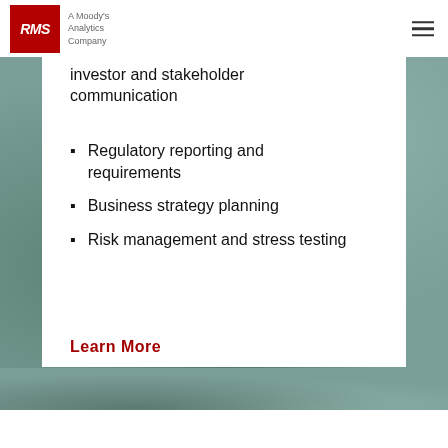[Figure (logo): RMS logo — red square with white italic RMS text, beside 'A Moody's Analytics Company' in grey]
investor and stakeholder communication
Regulatory reporting and requirements
Business strategy planning
Risk management and stress testing
Learn More